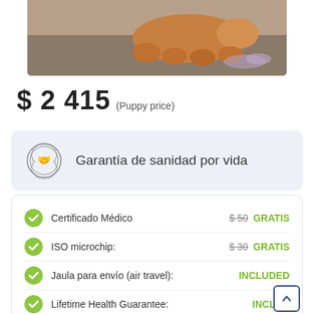[Figure (photo): Photo of a puppy (orange/tan colored) playing with a toy on a surface, with 'elite puppy' watermark overlay]
$ 2 415 (Puppy price)
Garantía de sanidad por vida
Certificado Médico — $50 GRATIS
ISO microchip: — $30 GRATIS
Jaula para envío (air travel): — INCLUDED
Lifetime Health Guarantee: — INCLUDED